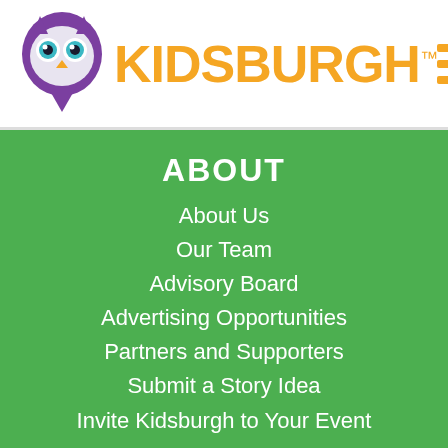[Figure (logo): Kidsburgh logo with purple owl mascot and orange KIDSBURGH text with TM mark, and an orange hamburger menu icon on the right]
ABOUT
About Us
Our Team
Advisory Board
Advertising Opportunities
Partners and Supporters
Submit a Story Idea
Invite Kidsburgh to Your Event